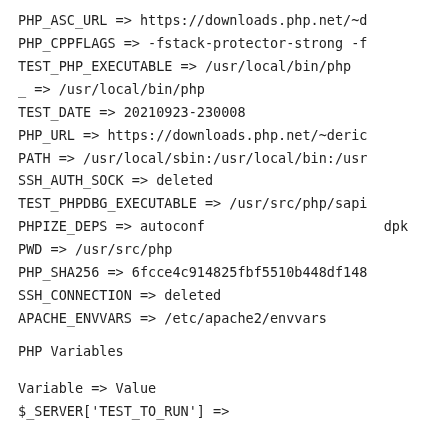PHP_ASC_URL => https://downloads.php.net/~d
PHP_CPPFLAGS => -fstack-protector-strong -f
TEST_PHP_EXECUTABLE => /usr/local/bin/php
_ => /usr/local/bin/php
TEST_DATE => 20210923-230008
PHP_URL => https://downloads.php.net/~deric
PATH => /usr/local/sbin:/usr/local/bin:/usr
SSH_AUTH_SOCK => deleted
TEST_PHPDBG_EXECUTABLE => /usr/src/php/sapi
PHPIZE_DEPS => autoconf                      dpk
PWD => /usr/src/php
PHP_SHA256 => 6fcce4c914825fbf5510b448df148
SSH_CONNECTION => deleted
APACHE_ENVVARS => /etc/apache2/envvars
PHP Variables
Variable => Value
$_SERVER['TEST_TO_RUN'] =>